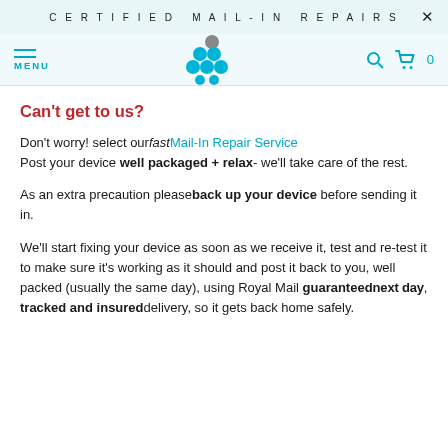CERTIFIED MAIL-IN REPAIRS
[Figure (logo): Cluster of blue and grey circles forming a logo]
Can't get to us?
Don't worry! select our fast Mail-In Repair Service Post your device well packaged + relax- we'll take care of the rest.
As an extra precaution please back up your device before sending it in.
We'll start fixing your device as soon as we receive it, test and re-test it to make sure it's working as it should and post it back to you, well packed (usually the same day), using Royal Mail guaranteed next day, tracked and insured delivery, so it gets back home safely.